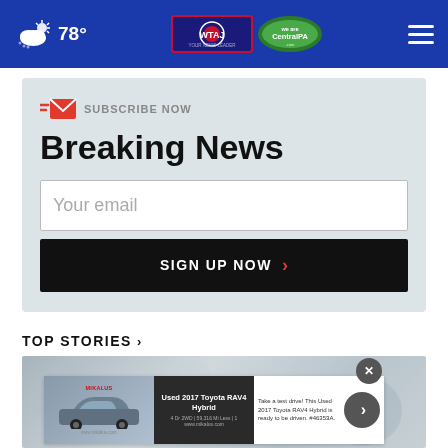78° WTAJ CentralPA.com
SUBSCRIBE NOW
Breaking News
Your email
SIGN UP NOW ›
TOP STORIES ›
[Figure (photo): News article thumbnail image blurred background]
[Figure (infographic): Advertisement for Used 2017 Toyota RAV4 Hybrid with car image, title, details and description]